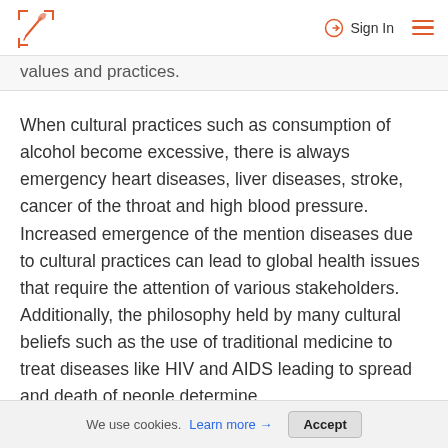Sign In
values and practices.
When cultural practices such as consumption of alcohol become excessive, there is always emergency heart diseases, liver diseases, stroke, cancer of the throat and high blood pressure. Increased emergence of the mention diseases due to cultural practices can lead to global health issues that require the attention of various stakeholders. Additionally, the philosophy held by many cultural beliefs such as the use of traditional medicine to treat diseases like HIV and AIDS leading to spread and death of people determine
We use cookies. Learn more → Accept